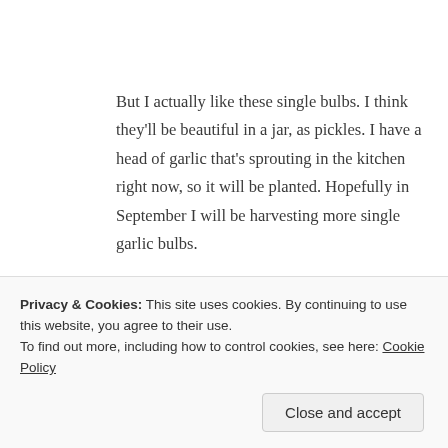But I actually like these single bulbs. I think they'll be beautiful in a jar, as pickles. I have a head of garlic that's sprouting in the kitchen right now, so it will be planted. Hopefully in September I will be harvesting more single garlic bulbs.
There was also a bit of spinach, the last of it. It was added to a frittata, along with some gigantic scallions.
Privacy & Cookies: This site uses cookies. By continuing to use this website, you agree to their use.
To find out more, including how to control cookies, see here: Cookie Policy
Close and accept